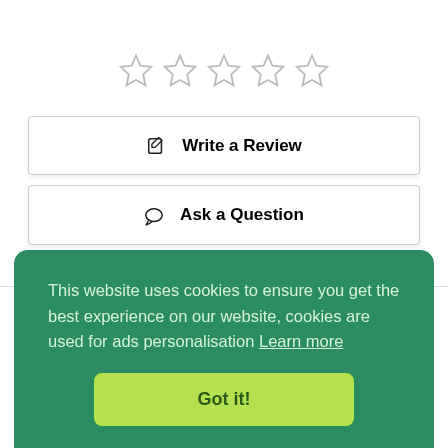[Figure (illustration): Five empty star rating icons arranged in a row]
✎ Write a Review
💬 Ask a Question
Reviews 0    Questions 0
This website uses cookies to ensure you get the best experience on our website, cookies are used for ads personalisation Learn more
Got it!